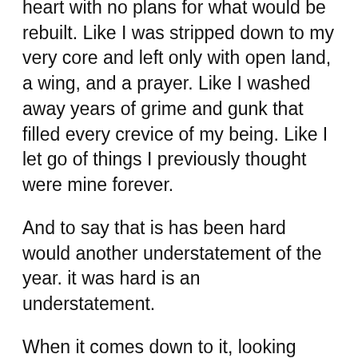heart with no plans for what would be rebuilt. Like I was stripped down to my very core and left only with open land, a wing, and a prayer. Like I washed away years of grime and gunk that filled every crevice of my being. Like I let go of things I previously thought were mine forever.
And to say that is has been hard would another understatement of the year. it was hard is an understatement.
When it comes down to it, looking honestly at our thoughts, feelings, behaviors, habits, shadows, and beliefs is hard. It's scary and it isn't for the faint of heart.